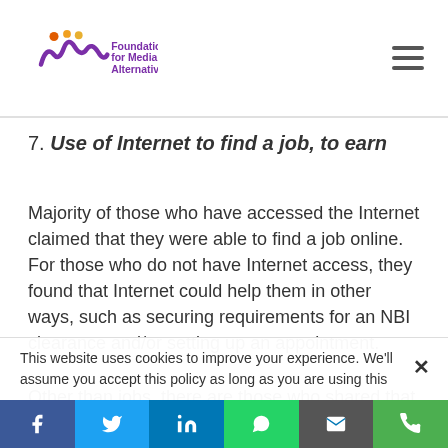Foundation for Media Alternatives
7. Use of Internet to find a job, to earn
Majority of those who have accessed the Internet claimed that they were able to find a job online. For those who do not have Internet access, they found that Internet could help them in other ways, such as securing requirements for an NBI clearance and/or setting up an appointment.
Other than jobs, there are those who shared that they have learned from watching videos on the Internet. One participant shared that she learned how to cook and
This website uses cookies to improve your experience. We'll assume you accept this policy as long as you are using this